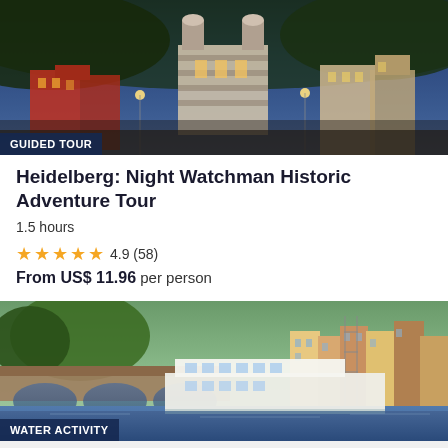[Figure (photo): Night cityscape of Heidelberg with illuminated historic church and buildings against blue dusk sky]
GUIDED TOUR
Heidelberg: Night Watchman Historic Adventure Tour
1.5 hours
4.9 (58)
From US$ 11.96 per person
[Figure (photo): River boat on the Neckar with Heidelberg old bridge and colorful riverside buildings]
WATER ACTIVITY
GetYourGuide uses cookies to give you the best possible service. If you continue browsing, you agree to the use of cookies. More details can be found in our privacy policy.